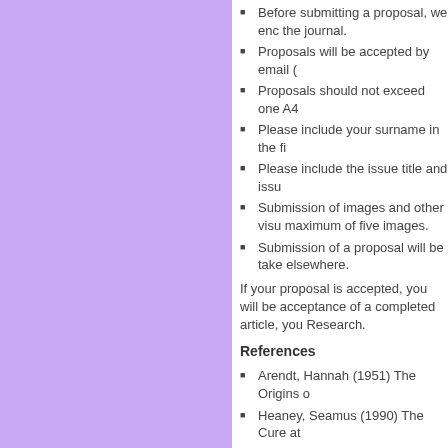Before submitting a proposal, we enc the journal.
Proposals will be accepted by email (
Proposals should not exceed one A4
Please include your surname in the fi
Please include the issue title and issu
Submission of images and other visu maximum of five images.
Submission of a proposal will be take elsewhere.
If your proposal is accepted, you will be acceptance of a completed article, you Research.
References
Arendt, Hannah (1951) The Origins o
Heaney, Seamus (1990) The Cure at
Tags: publication • call for proposals